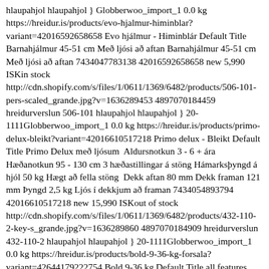hlaupahjol hlaupahjol } Globberwoo_import_1 0.0 kg https://hreidur.is/products/evo-hjalmur-himinblar?variant=42016592658658 Evo hjálmur - Himinblár Default Title Barnahjálmur 45-51 cm Með ljósi að aftan Barnahjálmur 45-51 cm Með ljósi að aftan 7434047783138 42016592658658 new 5,990 ISKin stock http://cdn.shopify.com/s/files/1/0611/1369/6482/products/506-101-pers-scaled_grande.jpg?v=1636289453 4897070184459 hreidurverslun 506-101 hlaupahjol hlaupahjol } 20-1111Globberwoo_import_1 0.0 kg https://hreidur.is/products/primo-delux-bleikt?variant=42016610517218 Primo delux - Bleikt Default Title Primo Delux með ljósum  Aldursnotkun 3 - 6 + ára Hæðanotkun 95 - 130 cm 3 hæðastillingar á stöng Hámarksþyngd á hjól 50 kg Hægt að fella stöng  Dekk aftan 80 mm Dekk framan 121 mm Þyngd 2,5 kg Ljós í dekkjum að framan 7434054893794 42016610517218 new 15,990 ISKout of stock http://cdn.shopify.com/s/files/1/0611/1369/6482/products/432-110-2-key-s_grande.jpg?v=1636289860 4897070184909 hreidurverslun 432-110-2 hlaupahjol hlaupahjol } 20-1111Globberwoo_import_1 0.0 kg https://hreidur.is/products/bold-9-36-kg-forsala?variant=42644179222754 Bold 9-36 kg Default Title all features Extended 5-point harness usage all the way up to 25kg 3 cosy recline positions Side impact protection provides added security for the head, body, and hips Guard Surround